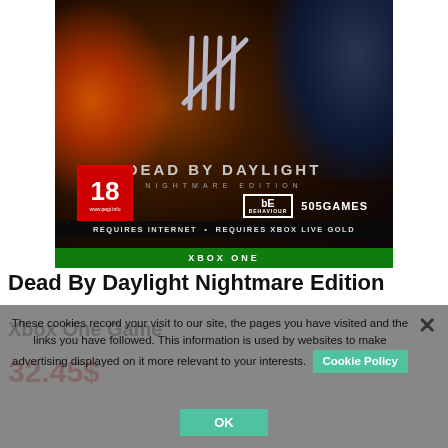[Figure (photo): Dead by Daylight Nightmare Edition Xbox One game box art showing horror characters, tally mark logo, PEGI 18 rating, Behaviour and 505 Games logos, Xbox One green bar at bottom]
Dead By Daylight Nightmare Edition Xbox One Game
32.45$
These cookies record your visit to our site, the pages you have visited and the links you have followed. This information is used by websites to make advertising displayed on it more relevant to your interests.
Cookie Policy
OK